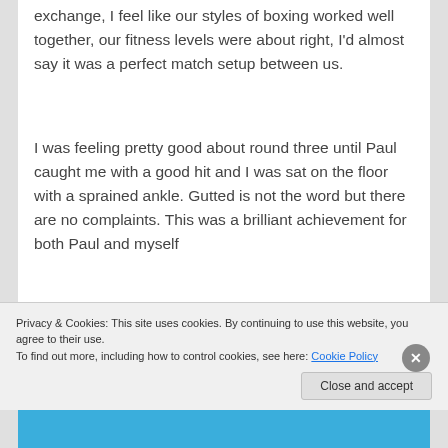exchange, I feel like our styles of boxing worked well together, our fitness levels were about right, I'd almost say it was a perfect match setup between us.
I was feeling pretty good about round three until Paul caught me with a good hit and I was sat on the floor with a sprained ankle. Gutted is not the word but there are no complaints. This was a brilliant achievement for both Paul and myself
Privacy & Cookies: This site uses cookies. By continuing to use this website, you agree to their use.
To find out more, including how to control cookies, see here: Cookie Policy